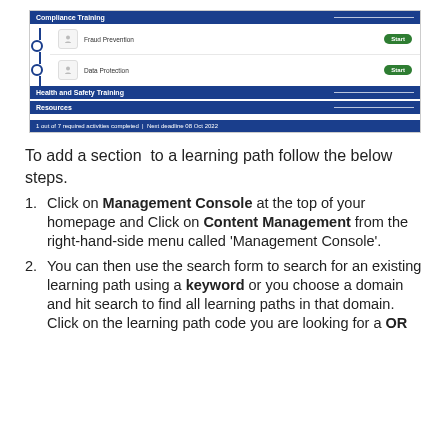[Figure (screenshot): Screenshot of a learning management system showing a Compliance Training section with Fraud Prevention and Data Protection items (each with a Start button), followed by Health and Safety Training and Resources sections, and a status bar reading '1 out of 7 required activities completed | Next deadline 08 Oct 2022']
To add a section to a learning path follow the below steps.
Click on Management Console at the top of your homepage and Click on Content Management from the right-hand-side menu called 'Management Console'.
You can then use the search form to search for an existing learning path using a keyword or you choose a domain and hit search to find all learning paths in that domain. Click on the learning path code you are looking for a OR